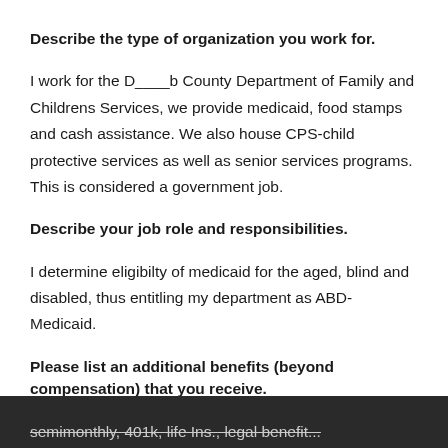Describe the type of organization you work for.
I work for the D____b County Department of Family and Childrens Services, we provide medicaid, food stamps and cash assistance. We also house CPS-child protective services as well as senior services programs. This is considered a government job.
Describe your job role and responsibilities.
I determine eligibilty of medicaid for the aged, blind and disabled, thus entitling my department as ABD-Medicaid.
Please list an additional benefits (beyond compensation) that you receive.
medical, dental, 2wks vacation, 4hrs sick lv accrued semimonthly, 401k, life Ins., legal benefit...